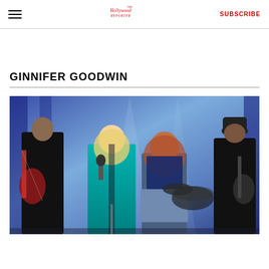The Hollywood Reporter — SUBSCRIBE
GINNIFER GOODWIN
[Figure (photo): Concert performance photo showing two women on stage — one in a teal/blue metallic dress holding a microphone, and one with red/auburn hair wearing denim shorts and a navy top. Band members visible in background including two guitarists and a drum kit.]